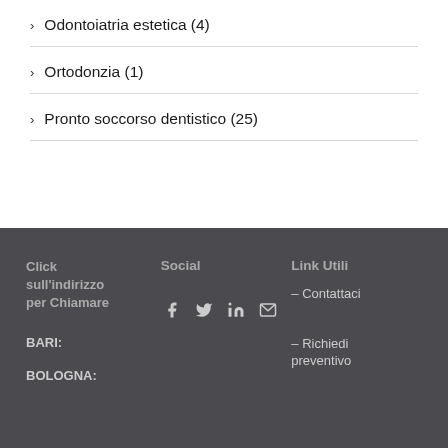> Odontoiatria estetica (4)
> Ortodonzia (1)
> Pronto soccorso dentistico (25)
Click sull'indirizzo per Chiamare | Social | Link Utili | – Contattaci | – Richiedi preventivo | BARI: | BOLOGNA: